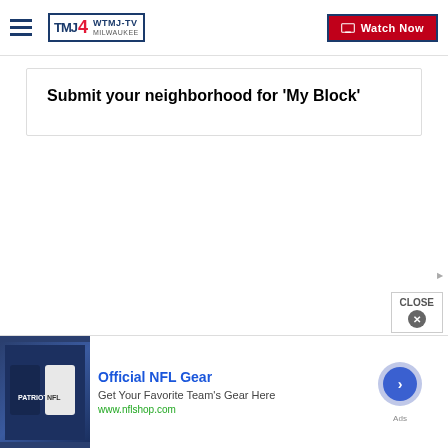WTMJ-TV MILWAUKEE | Watch Now
Submit your neighborhood for 'My Block'
[Figure (photo): NFL merchandise — Patriots shirts on display]
Official NFL Gear
Get Your Favorite Team's Gear Here
www.nflshop.com